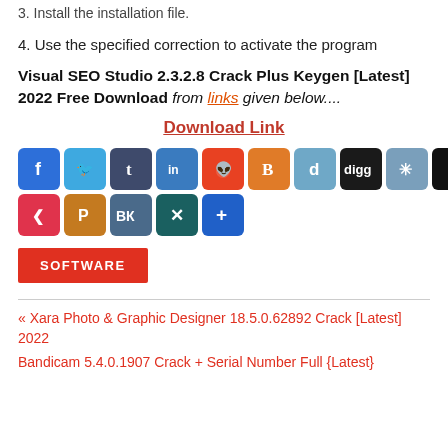3. Install the installation file.
4. Use the specified correction to activate the program
Visual SEO Studio 2.3.2.8 Crack Plus Keygen [Latest] 2022 Free Download from links given below....
Download Link
[Figure (infographic): Row of social media sharing icons: Facebook, Twitter, Tumblr, LinkedIn, Reddit, Blogger, Delicious, Digg, a star/flower icon, Instapaper; second row: Pocket, Pinboard, VK, XING, More(+)]
SOFTWARE
« Xara Photo & Graphic Designer 18.5.0.62892 Crack [Latest] 2022
Bandicam 5.4.0.1907 Crack + Serial Number Full {Latest}